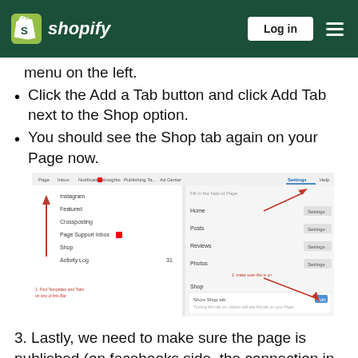Shopify — Log in
menu on the left.
Click the Add a Tab button and click Add Tab next to the Shop option.
You should see the Shop tab again on your Page now.
[Figure (screenshot): Screenshot of Facebook Page settings showing tabs configuration with arrows indicating steps to add Shop tab. Red arrows point to template/tabs on left nav and to 'Make sure this is on' for Shop tab on right panel.]
3. Lastly, we need to make sure the page is published (on facebooks side, the connection in the admin does not mean it is published):